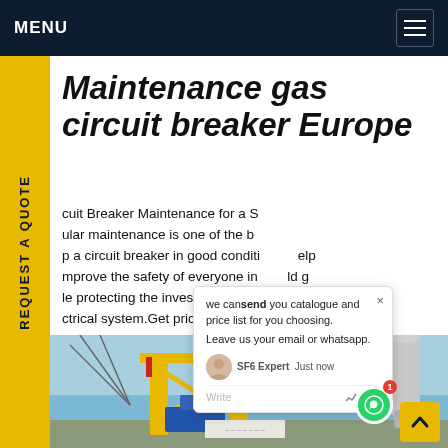MENU
Maintenance gas circuit breaker Europe
Circuit Breaker Maintenance for a Se... Regular maintenance is one of the b... p a circuit breaker in good condition... Improve the safety of everyone in... le protecting the investment of c... ntire ctrical system. Get price
[Figure (photo): Yellow industrial gas circuit breaker maintenance equipment at a substation under blue sky]
we can send you catalogue and price list for you choosing. Leave us your email or whatsapp. SF6 Expert  Just now  Write